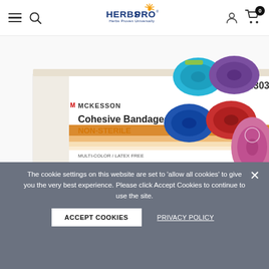HERBSPRO® Herbs Proven Universally — navigation header
[Figure (photo): McKesson Cohesive Bandages NON-STERILE, product number 16-4303, box shown alongside colorful cohesive bandage rolls in cyan, purple, blue, red, and pink colors. Box label reads 3" x 5 yds, 1 piece, 24 count.]
The cookie settings on this website are set to 'allow all cookies' to give you the very best experience. Please click Accept Cookies to continue to use the site.
ACCEPT COOKIES
PRIVACY POLICY